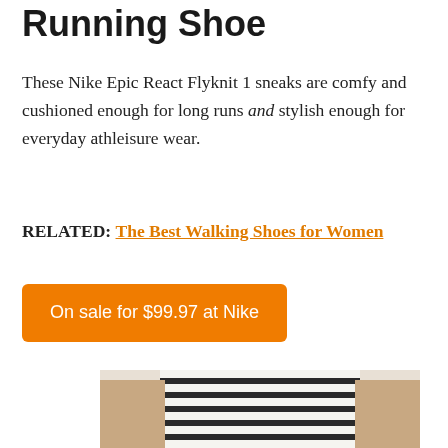Running Shoe
These Nike Epic React Flyknit 1 sneaks are comfy and cushioned enough for long runs and stylish enough for everyday athleisure wear.
RELATED: The Best Walking Shoes for Women
On sale for $99.97 at Nike
[Figure (photo): Person wearing a black and white striped shirt, partial body view from torso down, wearing Nike shoes]